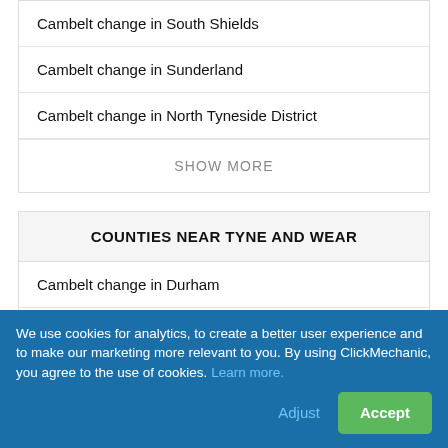Cambelt change in South Shields
Cambelt change in Sunderland
Cambelt change in North Tyneside District
SHOW MORE
COUNTIES NEAR TYNE AND WEAR
Cambelt change in Durham
Cambelt change in Northumberland
We use cookies for analytics, to create a better user experience and to make our marketing more relevant to you. By using ClickMechanic, you agree to the use of cookies. Learn more.